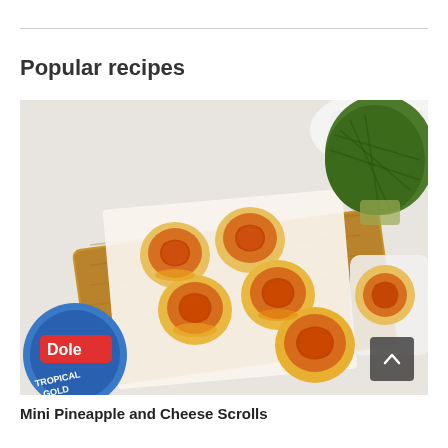Popular recipes
[Figure (photo): Mini pineapple and cheese scrolls arranged on a wooden board with baking paper, with a can of Dole Tropical Gold pineapple in the lower left and a halved pineapple in the upper right background]
Mini Pineapple and Cheese Scrolls